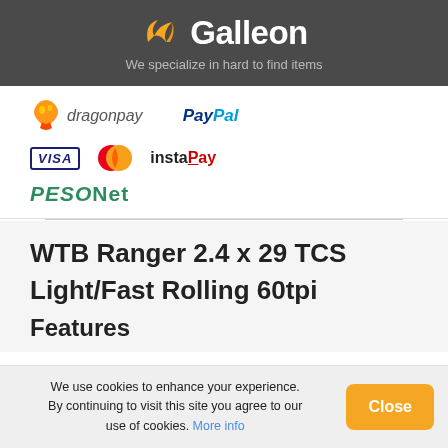[Figure (logo): Galleon logo with orange bird icon and white text on dark gray background, tagline: We specialize in hard to find items]
[Figure (logo): Payment method logos: dragonpay, PayPal, VISA, MasterCard, instaPay, PESONet]
WTB Ranger 2.4 x 29 TCS Light/Fast Rolling 60tpi
Features
We use cookies to enhance your experience. By continuing to visit this site you agree to our use of cookies. More info